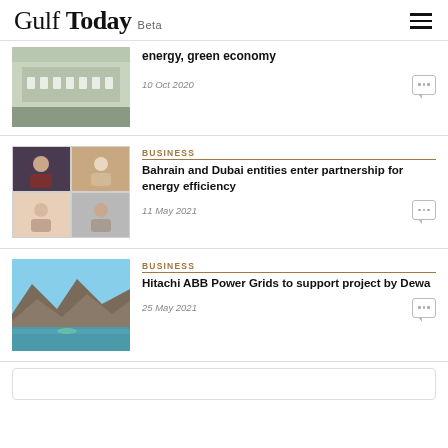Gulf Today Beta
energy, green economy
10 Oct 2020
[Figure (photo): Conference room with people seated in white chairs along a long table]
BUSINESS
Bahrain and Dubai entities enter partnership for energy efficiency
11 May 2021
[Figure (photo): Video conference grid showing multiple participants in business attire]
BUSINESS
Hitachi ABB Power Grids to support project by Dewa
25 May 2021
[Figure (photo): Aerial view of mountainous coastal landscape with turquoise water]